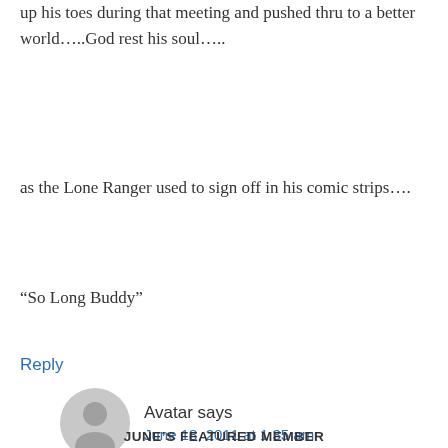up his toes during that meeting and pushed thru to a better world…..God rest his soul…..
as the Lone Ranger used to sign off in his comic strips….
“So Long Buddy”
Reply
Avatar says
June 18, 2011 at 1:35 am
JUNE’S FEATURED MEMBER